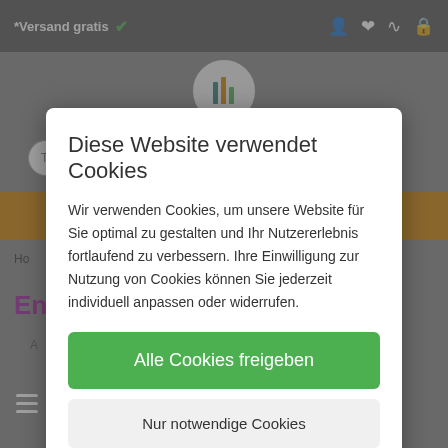*Versand gratis
[Figure (screenshot): Website screenshot background with logo, search bar, orange navigation bar, breadcrumb, and page title partially visible behind cookie consent modal]
Diese Website verwendet Cookies
Wir verwenden Cookies, um unsere Website für Sie optimal zu gestalten und Ihr Nutzererlebnis fortlaufend zu verbessern. Ihre Einwilligung zur Nutzung von Cookies können Sie jederzeit individuell anpassen oder widerrufen.
Alle Cookies freigeben
Nur notwendige Cookies
datenschutzerklärung